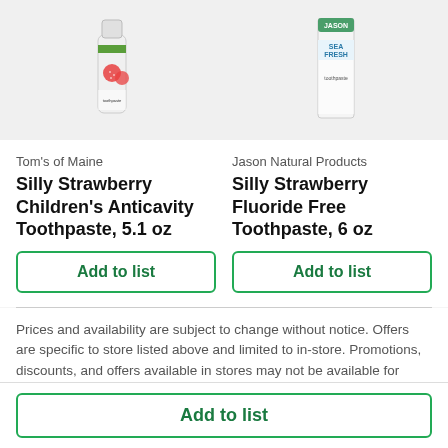[Figure (photo): Two product images side by side: left is Tom's of Maine Silly Strawberry toothpaste tube, right is Jason Natural Products Sea Fresh toothpaste box]
Tom's of Maine
Silly Strawberry Children's Anticavity Toothpaste, 5.1 oz
Jason Natural Products
Silly Strawberry Fluoride Free Toothpaste, 6 oz
Add to list
Add to list
Prices and availability are subject to change without notice. Offers are specific to store listed above and limited to in-store. Promotions, discounts, and offers available in stores may not be available for online orders. The information provided on this website, including special diets and
Add to list